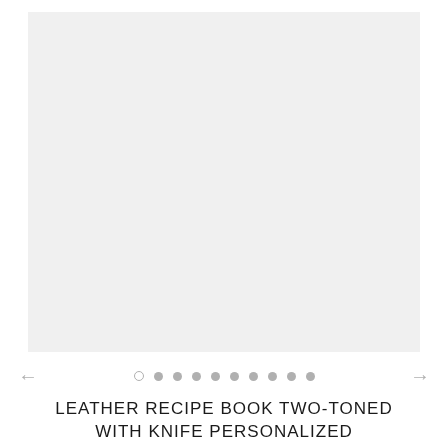[Figure (photo): Light gray placeholder image area for product photo carousel]
← ○ • • • • • • • • • →
LEATHER RECIPE BOOK TWO-TONED WITH KNIFE PERSONALIZED